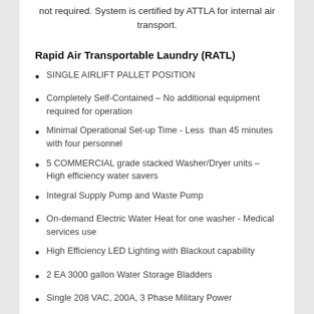not required. System is certified by ATTLA for internal air transport.
Rapid Air Transportable Laundry (RATL)
SINGLE AIRLIFT PALLET POSITION
Completely Self-Contained – No additional equipment required for operation
Minimal Operational Set-up Time - Less than 45 minutes with four personnel
5 COMMERCIAL grade stacked Washer/Dryer units – High efficiency water savers
Integral Supply Pump and Waste Pump
On-demand Electric Water Heat for one washer - Medical services use
High Efficiency LED Lighting with Blackout capability
2 EA 3000 gallon Water Storage Bladders
Single 208 VAC, 200A, 3 Phase Military Power